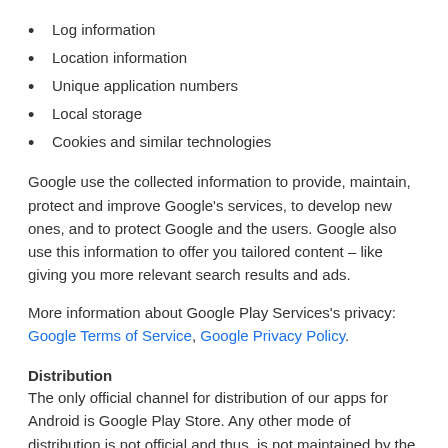Log information
Location information
Unique application numbers
Local storage
Cookies and similar technologies
Google use the collected information to provide, maintain, protect and improve Google's services, to develop new ones, and to protect Google and the users. Google also use this information to offer you tailored content – like giving you more relevant search results and ads.
More information about Google Play Services's privacy: Google Terms of Service, Google Privacy Policy.
Distribution
The only official channel for distribution of our apps for Android is Google Play Store. Any other mode of distribution is not official and thus, is not maintained by the developer. This privacy policy is effective to distribution made on official channel only.